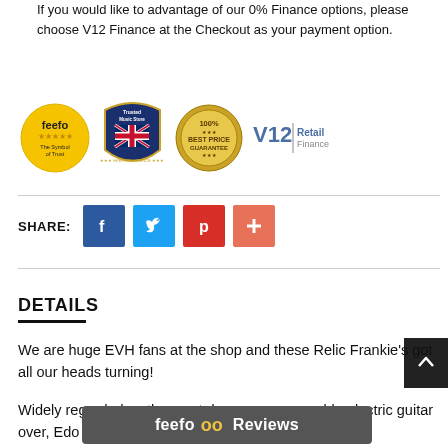If you would like to advantage of our 0% Finance options, please choose V12 Finance at the Checkout as your payment option.
[Figure (logo): Four trust badges in a row: Feefo gold circle with stars 'The Symbol of Trust', Trusted Music Store UK shield, 100% Best Price Guarantee gold seal, V12 Retail Finance logo]
SHARE:
[Figure (infographic): Social share buttons: Facebook (dark blue), Twitter (light blue), Pinterest (red), Plus/more (salmon/red)]
DETAILS
We are huge EVH fans at the shop and these Relic Frankie's got all our heads turning!
Widely regarded as the most desirable electric guitar over, Edo... and revered
[Figure (infographic): Feefo Reviews popup bar overlay at bottom of page]